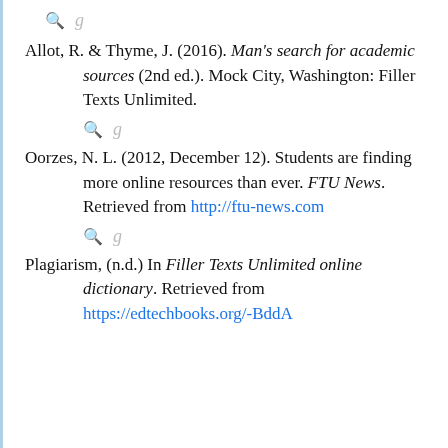[Figure (other): Search and Google Scholar icon row]
Allot, R. & Thyme, J. (2016). Man's search for academic sources (2nd ed.). Mock City, Washington: Filler Texts Unlimited.
[Figure (other): Search and Google Scholar icon row]
Oorzes, N. L. (2012, December 12). Students are finding more online resources than ever. FTU News. Retrieved from http://ftu-news.com
[Figure (other): Search and Google Scholar icon row]
Plagiarism, (n.d.) In Filler Texts Unlimited online dictionary. Retrieved from https://edtechbooks.org/-BddA